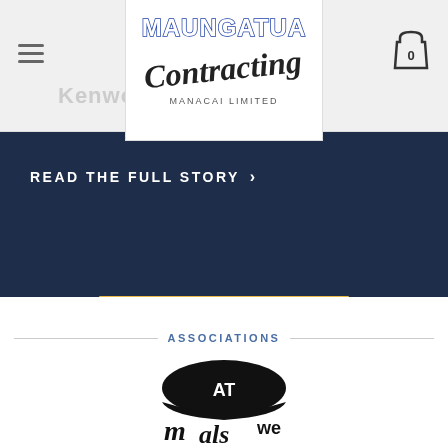[Figure (logo): Maungatua Contracting Manacai Limited logo with stylized text in blue and black cursive]
Kenwo...
READ THE FULL STORY ›
ASSOCIATIONS
[Figure (logo): Association logo in black and white at bottom of page]